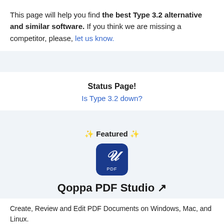This page will help you find the best Type 3.2 alternative and similar software. If you think we are missing a competitor, please, let us know.
Status Page!
Is Type 3.2 down?
✨ Featured ✨
[Figure (logo): Qoppa PDF Studio app icon - dark blue rounded square with a stylized white quill/pen and PDF text]
Qoppa PDF Studio 🔗
Create, Review and Edit PDF Documents on Windows, Mac, and Linux.